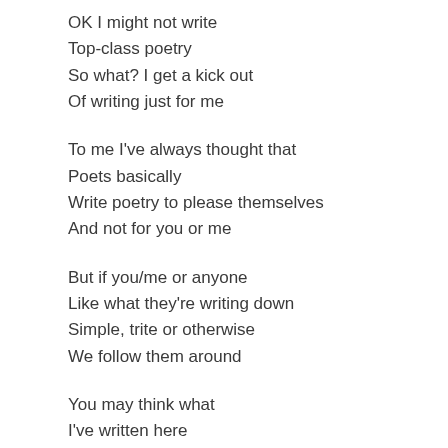OK I might not write
Top-class poetry
So what? I get a kick out
Of writing just for me
To me I've always thought that
Poets basically
Write poetry to please themselves
And not for you or me
But if you/me or anyone
Like what they're writing down
Simple, trite or otherwise
We follow them around
You may think what
I've written here